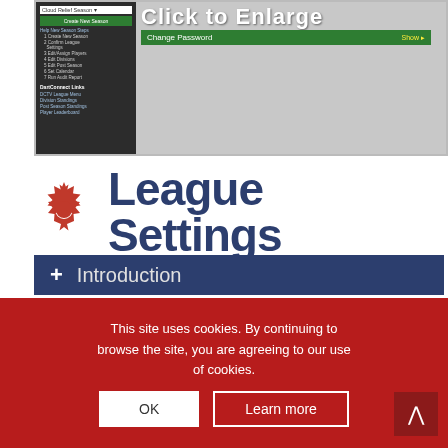[Figure (screenshot): Screenshot of a web application interface showing a 'Click to Enlarge' label, a 'Change Password' bar, a dark left sidebar with navigation menu items including Create New Season, Confirm League Settings, Edit/Assign Players, Edit Divisions, Edit Post Season, Set Calendar, Run Audit Report, and DartConnect Links section with DCTV League Menu, Division Standings, Post Season Standings, Player Leaderboard.]
League Settings
+ Introduction
This site uses cookies. By continuing to browse the site, you are agreeing to our use of cookies.